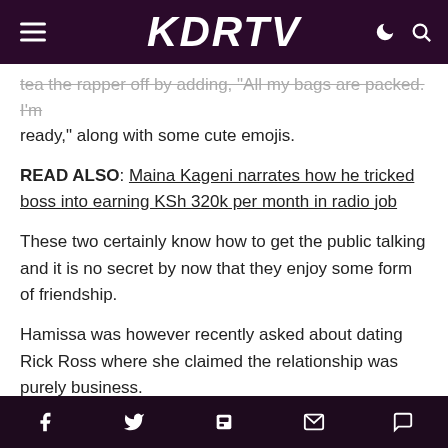KDRTV
tea the rapper off by adding, "All my bags are packed. I'm ready," along with some cute emojis.
READ ALSO: Maina Kageni narrates how he tricked boss into earning KSh 320k per month in radio job
These two certainly know how to get the public talking and it is no secret by now that they enjoy some form of friendship.
Hamissa was however recently asked about dating Rick Ross where she claimed the relationship was purely business.
"There's work involved but its not what people think" she
social share icons: Facebook, Twitter, Flipboard, Email, Comment